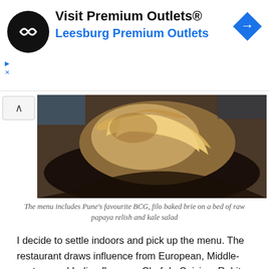[Figure (other): Advertisement banner: Visit Premium Outlets® Leesburg Premium Outlets with logo and navigation icon]
[Figure (photo): Close-up food photo of filo baked brie on a dark plate]
The menu includes Pune's favourite BCG, filo baked brie on a bed of raw papaya relish and kale salad
I decide to settle indoors and pick up the menu. The restaurant draws influence from European, Middle-eastern and Indian flavours. Chef de Cuisine, Rohit Chadha soon joins me at the table and is quick enough to take me through the menu, enquire about my preferences and round up an array of small plates, I didn't realize would cozy up to me.